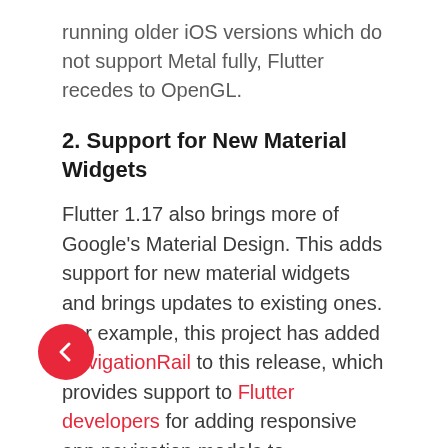running older iOS versions which do not support Metal fully, Flutter recedes to OpenGL.
2. Support for New Material Widgets
Flutter 1.17 also brings more of Google's Material Design. This adds support for new material widgets and brings updates to existing ones. For example, this project has added NavigationRail to this release, which provides support to Flutter developers for adding responsive app navigation models to applications.
It provides a navigation widget designed by the Material Design team that is shown on the right or left an application. NavigationRail is amazing for apps that swap between desktop and mobile form factors because it is easy to switch in for a